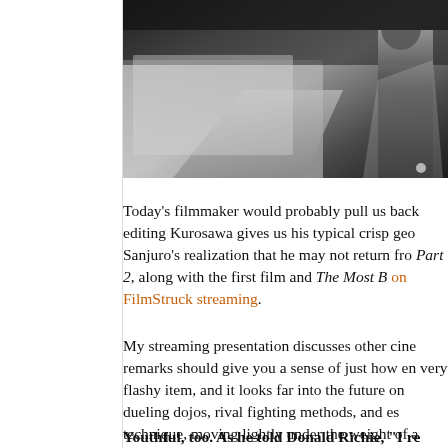[Figure (photo): Black and white film still showing a path or walkway with a figure in traditional Japanese clothing on the right side]
Today's filmmaker would probably pull us back editing Kurosawa gives us his typical crisp geo Sanjuro's realization that he may not return fro Part 2, along with the first film and The Most B on FilmStruck streaming.
My streaming presentation discusses other cine remarks should give you a sense of just how en very flashy item, and it looks far into the future on dueling dojos, rival fighting methods, and es technique, moving lightly under the weight of a
Youthful, too. As he told Donald Richie, "I re